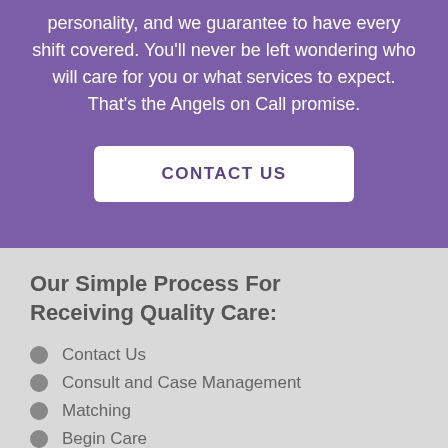personality, and we guarantee to have every shift covered. You'll never be left wondering who will care for you or what services to expect. That's the Angels on Call promise.
CONTACT US
Our Simple Process For Receiving Quality Care:
Contact Us
Consult and Case Management
Matching
Begin Care